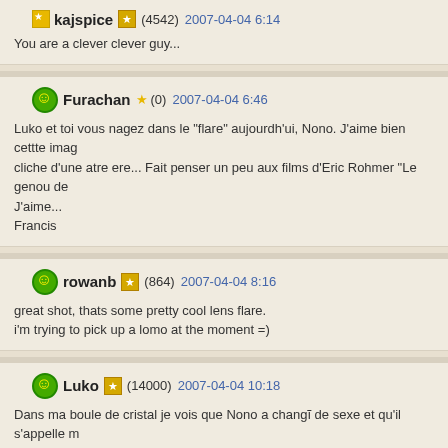kajspice (4542) 2007-04-04 6:14
You are a clever clever guy...
Furachan (0) 2007-04-04 6:46
Luko et toi vous nagez dans le "flare" aujourdh'ui, Nono. J'aime bien cettte imag cliche d'une atre ere... Fait penser un peu aux films d'Eric Rohmer "Le genou de J'aime...
Francis
rowanb (864) 2007-04-04 8:16
great shot, thats some pretty cool lens flare.
i'm trying to pick up a lomo at the moment =)
Luko (14000) 2007-04-04 10:18
Dans ma boule de cristal je vois que Nono a changĩ de sexe et qu'il s'appelle m Nono lit la collection Arlequin a l'ombre d'un platane .. par contre, dans ma boul voir s'il ira a Delhi ou au Mali ?!